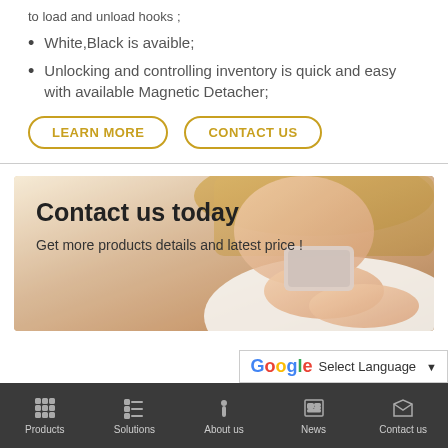to load and unload hooks ;
White,Black is avaible;
Unlocking and controlling inventory is quick and easy with available Magnetic Detacher;
LEARN MORE | CONTACT US
[Figure (photo): Woman holding a smartphone, used as a contact us banner with text 'Contact us today' and 'Get more products details and latest price!']
Select Language
Products | Solutions | About us | News | Contact us